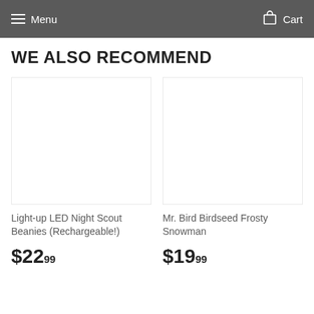Menu  Cart
WE ALSO RECOMMEND
[Figure (photo): Product image placeholder for Light-up LED Night Scout Beanies (Rechargeable!)]
Light-up LED Night Scout Beanies (Rechargeable!)
$22.99
[Figure (photo): Product image placeholder for Mr. Bird Birdseed Frosty Snowman]
Mr. Bird Birdseed Frosty Snowman
$19.99